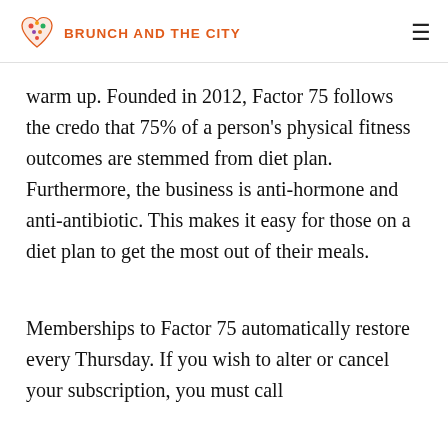BRUNCH AND THE CITY
warm up. Founded in 2012, Factor 75 follows the credo that 75% of a person's physical fitness outcomes are stemmed from diet plan. Furthermore, the business is anti-hormone and anti-antibiotic. This makes it easy for those on a diet plan to get the most out of their meals.
Memberships to Factor 75 automatically restore every Thursday. If you wish to alter or cancel your subscription, you must call